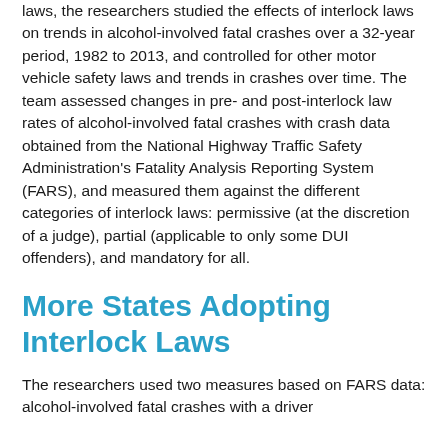laws, the researchers studied the effects of interlock laws on trends in alcohol-involved fatal crashes over a 32-year period, 1982 to 2013, and controlled for other motor vehicle safety laws and trends in crashes over time. The team assessed changes in pre- and post-interlock law rates of alcohol-involved fatal crashes with crash data obtained from the National Highway Traffic Safety Administration's Fatality Analysis Reporting System (FARS), and measured them against the different categories of interlock laws: permissive (at the discretion of a judge), partial (applicable to only some DUI offenders), and mandatory for all.
More States Adopting Interlock Laws
The researchers used two measures based on FARS data: alcohol-involved fatal crashes with a driver